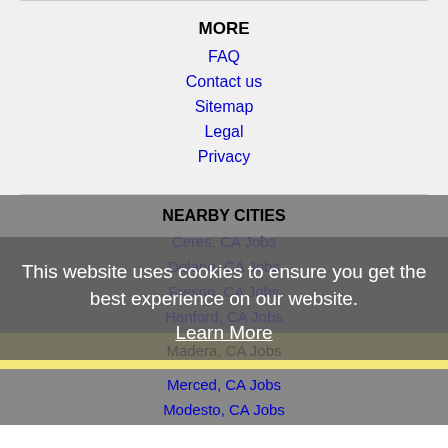MORE
FAQ
Contact us
Sitemap
Legal
Privacy
NEARBY CITIES
Ceres, CA Jobs
Delano, CA Jobs
Fresno, CA Jobs
Hanford, CA Jobs
Madera, CA Jobs
Merced, CA Jobs
Modesto, CA Jobs
This website uses cookies to ensure you get the best experience on our website.
Learn More